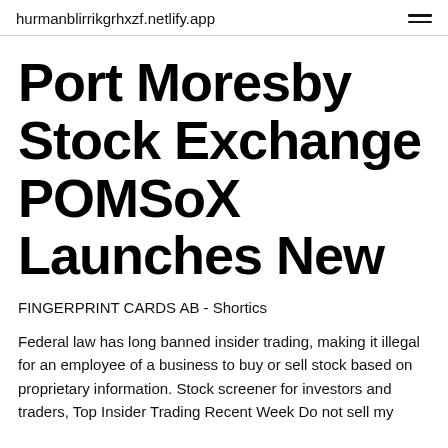hurmanblirrikgrhxzf.netlify.app
Port Moresby Stock Exchange POMSoX Launches New
FINGERPRINT CARDS AB - Shortics
Federal law has long banned insider trading, making it illegal for an employee of a business to buy or sell stock based on proprietary information. Stock screener for investors and traders, Top Insider Trading Recent Week Do not sell my